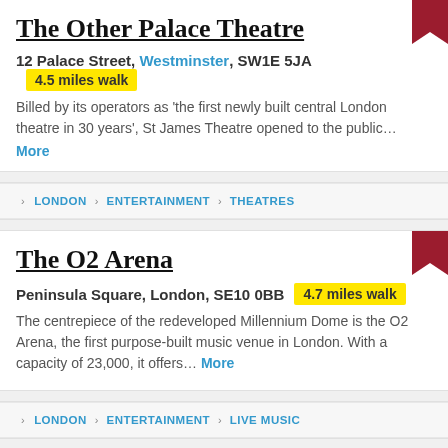The Other Palace Theatre
12 Palace Street, Westminster, SW1E 5JA  4.5 miles walk
Billed by its operators as 'the first newly built central London theatre in 30 years', St James Theatre opened to the public... More
› LONDON › ENTERTAINMENT › THEATRES
The O2 Arena
Peninsula Square, London, SE10 0BB  4.7 miles walk
The centrepiece of the redeveloped Millennium Dome is the O2 Arena, the first purpose-built music venue in London. With a capacity of 23,000, it offers... More
› LONDON › ENTERTAINMENT › LIVE MUSIC
O2 Academy Brixton